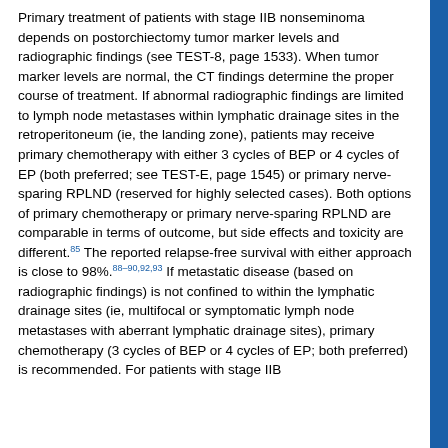Primary treatment of patients with stage IIB nonseminoma depends on postorchiectomy tumor marker levels and radiographic findings (see TEST-8, page 1533). When tumor marker levels are normal, the CT findings determine the proper course of treatment. If abnormal radiographic findings are limited to lymph node metastases within lymphatic drainage sites in the retroperitoneum (ie, the landing zone), patients may receive primary chemotherapy with either 3 cycles of BEP or 4 cycles of EP (both preferred; see TEST-E, page 1545) or primary nerve-sparing RPLND (reserved for highly selected cases). Both options of primary chemotherapy or primary nerve-sparing RPLND are comparable in terms of outcome, but side effects and toxicity are different.85 The reported relapse-free survival with either approach is close to 98%.88–90,92,93 If metastatic disease (based on radiographic findings) is not confined to within the lymphatic drainage sites (ie, multifocal or symptomatic lymph node metastases with aberrant lymphatic drainage sites), primary chemotherapy (3 cycles of BEP or 4 cycles of EP; both preferred) is recommended. For patients with stage IIB